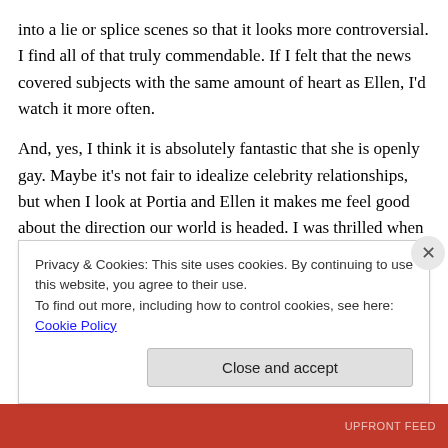into a lie or splice scenes so that it looks more controversial. I find all of that truly commendable. If I felt that the news covered subjects with the same amount of heart as Ellen, I'd watch it more often.
And, yes, I think it is absolutely fantastic that she is openly gay. Maybe it's not fair to idealize celebrity relationships, but when I look at Portia and Ellen it makes me feel good about the direction our world is headed. I was thrilled when they were allowed to get married. I was way more excited about that than I was for William and Kate's wedding. Because, fair or not, I was able to hug some very
Privacy & Cookies: This site uses cookies. By continuing to use this website, you agree to their use.
To find out more, including how to control cookies, see here: Cookie Policy
Close and accept